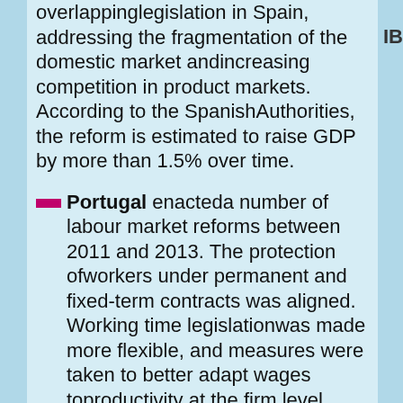overlapping legislation in Spain, addressing the fragmentation of the domestic market and increasing competition in product markets. According to the Spanish Authorities, the reform is estimated to raise GDP by more than 1.5% over time.
Portugal enacted a number of labour market reforms between 2011 and 2013. The protection of workers under permanent and fixed-term contracts was aligned. Working time legislation was made more flexible, and measures were taken to better adapt wages to productivity at the firm level. Unemployment benefits were reformed and eligibility was extended. The Public Employment Service was reformed, existing Active Labour Market Policies were reviewed and new programmes introduced, including targeted to the youth. The unemployment rate declined by about 2 percentage points between 2013 and 2014.